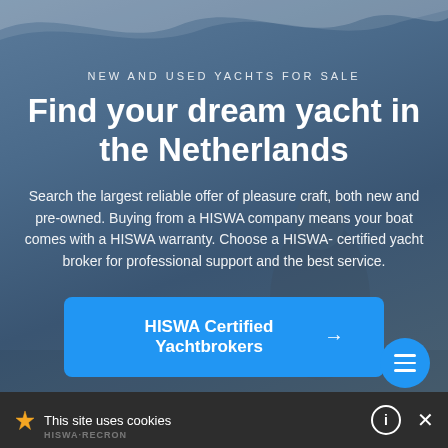[Figure (photo): Background photo of people on a yacht/boat on water, with wave graphic overlay at top. Dark blue-grey overlay tint covers the image.]
NEW AND USED YACHTS FOR SALE
Find your dream yacht in the Netherlands
Search the largest reliable offer of pleasure craft, both new and pre-owned. Buying from a HISWA company means your boat comes with a HISWA warranty. Choose a HISWA- certified yacht broker for professional support and the best service.
HISWA Certified Yachtbrokers →
This site uses cookies